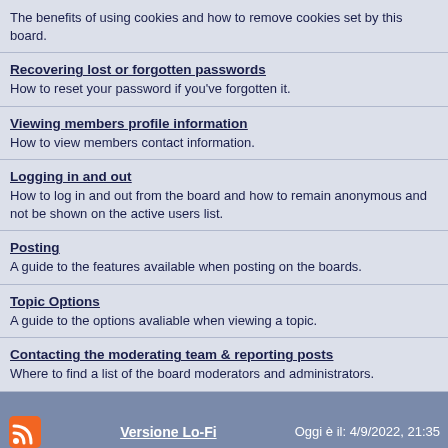The benefits of using cookies and how to remove cookies set by this board.
Recovering lost or forgotten passwords
How to reset your password if you've forgotten it.
Viewing members profile information
How to view members contact information.
Logging in and out
How to log in and out from the board and how to remain anonymous and not be shown on the active users list.
Posting
A guide to the features available when posting on the boards.
Topic Options
A guide to the options avaliable when viewing a topic.
Contacting the moderating team & reporting posts
Where to find a list of the board moderators and administrators.
Versione Lo-Fi   Oggi è il: 4/9/2022, 21:35